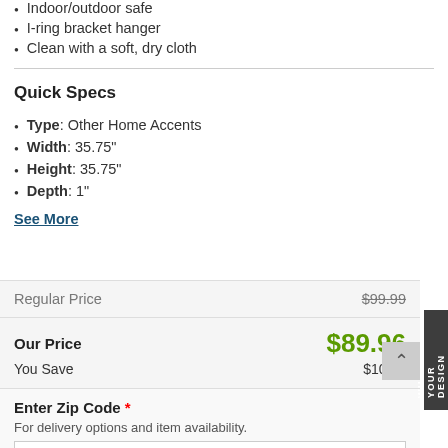Indoor/outdoor safe
I-ring bracket hanger
Clean with a soft, dry cloth
Quick Specs
Type: Other Home Accents
Width: 35.75"
Height: 35.75"
Depth: 1"
See More
| Label | Value |
| --- | --- |
| Regular Price | $99.99 |
| Our Price | $89.96 |
| You Save | $10.03 |
Enter Zip Code * For delivery options and item availability.